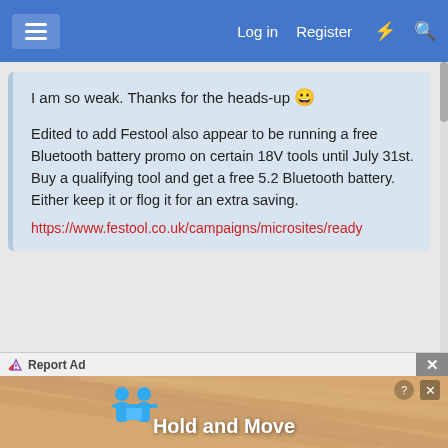Log in  Register
I am so weak. Thanks for the heads-up 😀
Edited to add Festool also appear to be running a free Bluetooth battery promo on certain 18V tools until July 31st. Buy a qualifying tool and get a free 5.2 Bluetooth battery. Either keep it or flog it for an extra saving.
https://www.festool.co.uk/campaigns/microsites/ready
It says in the small print of the battery offer that it cannot be combined with any other promotional campaign so the cashback and the battery can't be had together. The FFX discount can still be had with either however as it is independent of Festool as Ebay is picking up the cost of the discount. presumably in
Report Ad
[Figure (screenshot): Hold and Move advertisement banner with cartoon figures]